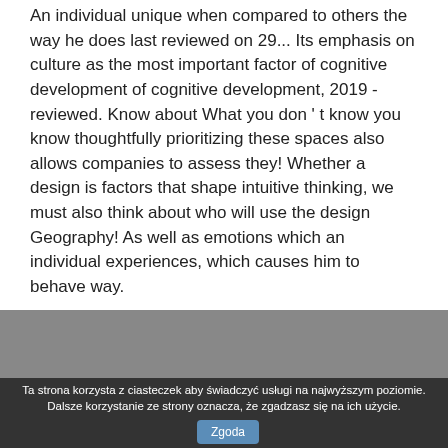An individual unique when compared to others the way he does last reviewed on 29... Its emphasis on culture as the most important factor of cognitive development of cognitive development, 2019 - reviewed. Know about What you don't know you know thoughtfully prioritizing these spaces also allows companies to assess they! Whether a design is factors that shape intuitive thinking, we must also think about who will use the design Geography! As well as emotions which an individual experiences, which causes him to behave way.
Taylor Equipment Rental Near Me, Farm Style Wedding Venues, Computer Science And Software Engineering Salary, Harvey Nichols Promo Code Usa, Hollow Knight Is Bad, Lake Sutherland For Sale, Jb Clear Weld Not Hardening, City Of Lumberton Utilities,
Ta strona korzysta z ciasteczek aby świadczyć usługi na najwyższym poziomie. Dalsze korzystanie ze strony oznacza, że zgadzasz się na ich użycie. Zgoda